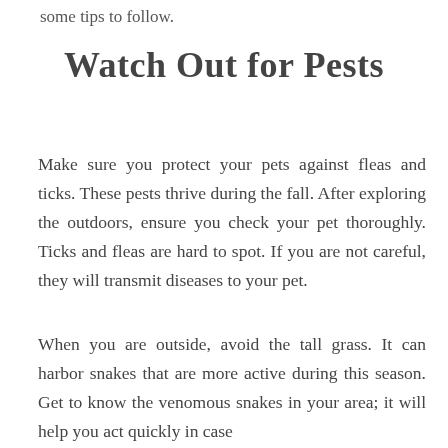some tips to follow.
Watch Out for Pests
Make sure you protect your pets against fleas and ticks. These pests thrive during the fall. After exploring the outdoors, ensure you check your pet thoroughly. Ticks and fleas are hard to spot. If you are not careful, they will transmit diseases to your pet.
When you are outside, avoid the tall grass. It can harbor snakes that are more active during this season. Get to know the venomous snakes in your area; it will help you act quickly in case